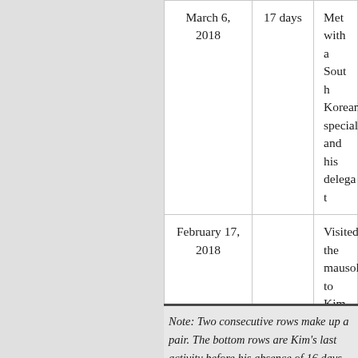| Date | Duration | Description |
| --- | --- | --- |
| March 6, 2018 | 17 days | Met with a South Korean special envoy and his delegation |
| February 17, 2018 |  | Visited the mausoleum to Kim Jong-il's birthday anniversary |
Note: Two consecutive rows make up a pair. The bottom rows are Kim's last activity before his absence of 16 days